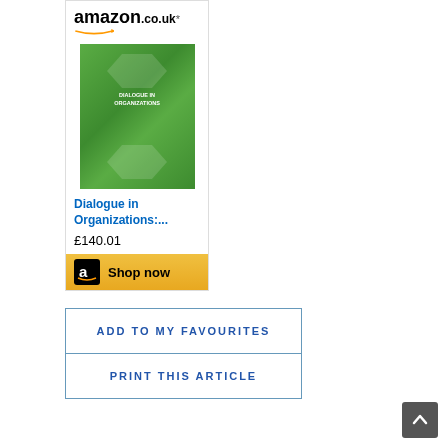[Figure (screenshot): Amazon.co.uk widget showing book 'Dialogue in Organizations:...' priced at £140.01 with a 'Shop now' button]
ADD TO MY FAVOURITES
PRINT THIS ARTICLE